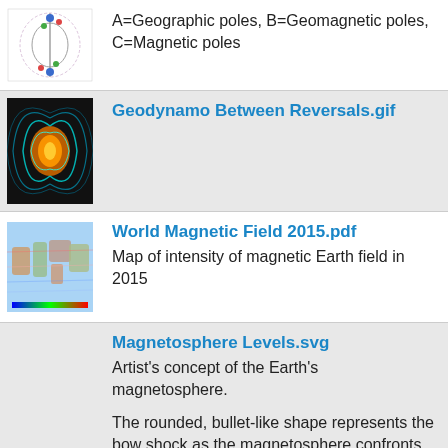[Figure (illustration): Diagram showing geographic, geomagnetic and magnetic poles (partially visible at top)]
A=Geographic poles, B=Geomagnetic poles, C=Magnetic poles
[Figure (illustration): Geodynamo simulation showing magnetic field lines in blue/teal and orange]
Geodynamo Between Reversals.gif
[Figure (map): World Magnetic Field 2015 map showing intensity of magnetic Earth field]
World Magnetic Field 2015.pdf
Map of intensity of magnetic Earth field in 2015
[Figure (illustration): Magnetosphere Levels SVG - artist concept of Earth's magnetosphere (partially visible)]
Magnetosphere Levels.svg
Artist's concept of the Earth's magnetosphere.

The rounded, bullet-like shape represents the bow shock as the magnetosphere confronts solar winds. The area represented in gray, between the magnetosphere and the bow shock, is called the magnetosheath, while the magnetopause is the boundary between